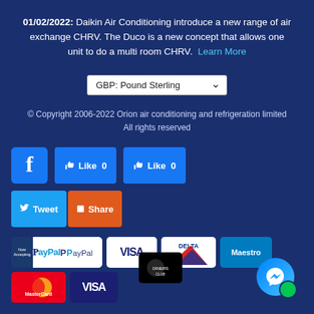01/02/2022: Daikin Air Conditioning introduce a new range of air exchange CHRV. The Duco is a new concept that allows one unit to do a multi room CHRV. Learn More
[Figure (screenshot): Currency selector dropdown showing GBP: Pound Sterling]
© Copyright 2006-2022 Orion air conditioning and refrigeration limited
All rights reserved
[Figure (screenshot): Social media buttons: Facebook icon, Like 0 button, Like 0 button, Tweet button, Share button]
[Figure (screenshot): Payment method logos: PayPal (Now Accepting), Visa, Delta, Maestro, MasterCard, Visa, Diners Club, Facebook Messenger bubble, green dot]